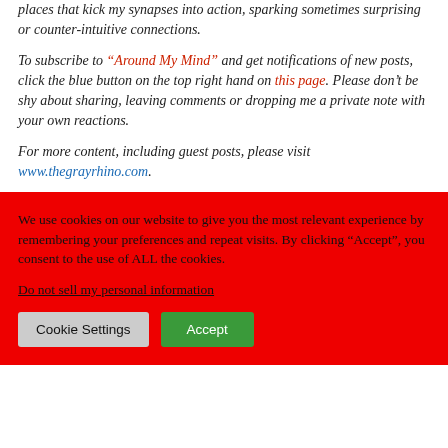places that kick my synapses into action, sparking sometimes surprising or counter-intuitive connections.
To subscribe to “Around My Mind” and get notifications of new posts, click the blue button on the top right hand on this page. Please don’t be shy about sharing, leaving comments or dropping me a private note with your own reactions.
For more content, including guest posts, please visit www.thegrayrhino.com.
We use cookies on our website to give you the most relevant experience by remembering your preferences and repeat visits. By clicking “Accept”, you consent to the use of ALL the cookies.
Do not sell my personal information
Cookie Settings
Accept